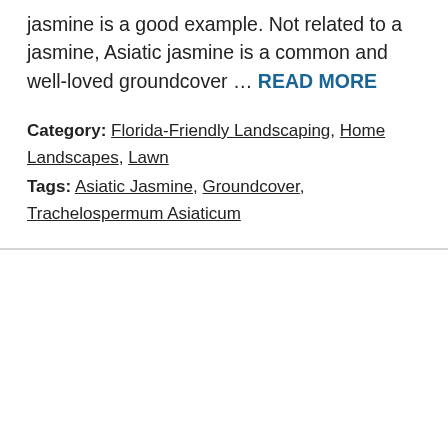jasmine is a good example. Not related to a jasmine, Asiatic jasmine is a common and well-loved groundcover … READ MORE
Category: Florida-Friendly Landscaping, Home Landscapes, Lawn
Tags: Asiatic Jasmine, Groundcover, Trachelospermum Asiaticum